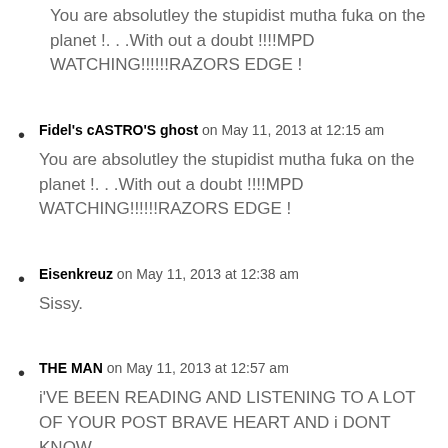You are absolutley the stupidist mutha fuka on the planet !. . .With out a doubt !!!!MPD WATCHING!!!!!!RAZORS EDGE !
Fidel's cASTRO'S ghost on May 11, 2013 at 12:15 am
You are absolutley the stupidist mutha fuka on the planet !. . .With out a doubt !!!!MPD WATCHING!!!!!!RAZORS EDGE !
Eisenkreuz on May 11, 2013 at 12:38 am
Sissy.
THE MAN on May 11, 2013 at 12:57 am
i'VE BEEN READING AND LISTENING TO A LOT OF YOUR POST BRAVE HEART AND i DONT KNOW